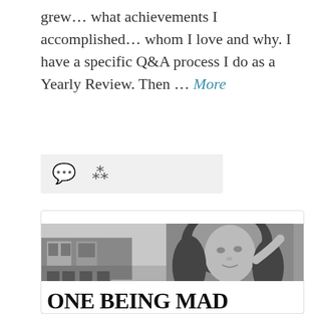grew… what achievements I accomplished… whom I love and why. I have a specific Q&A process I do as a Yearly Review. Then … More
[Figure (other): Icon bar with comment bubble and share/link icon on a light grey background]
[Figure (photo): A card containing a black and white photo of a woman with curly hair looking upward, overlaid with a white text block reading: ONE BEING MAD AT YOU DOESN'T AUTOMATICALLY AN YOU'VE DONE ETHING WRONG (text is partially cropped on the left side)]